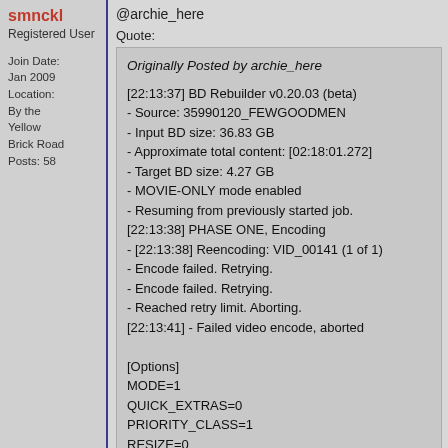smnckl
Registered User
Join Date: Jan 2009
Location: By the Yellow Brick Road
Posts: 58
@archie_here
Quote:
Originally Posted by archie_here

[22:13:37] BD Rebuilder v0.20.03 (beta)
- Source: 35990120_FEWGOODMEN
- Input BD size: 36.83 GB
- Approximate total content: [02:18:01.272]
- Target BD size: 4.27 GB
- MOVIE-ONLY mode enabled
- Resuming from previously started job.
[22:13:38] PHASE ONE, Encoding
- [22:13:38] Reencoding: VID_00141 (1 of 1)
- Encode failed. Retrying.
- Encode failed. Retrying.
- Reached retry limit. Aborting.
[22:13:41] - Failed video encode, aborted

[Options]
MODE=1
QUICK_EXTRAS=0
PRIORITY_CLASS=1
RESIZE=0
TARGET_SIZE=4369
AUDIO_TO_KEEP=eng;
SUBS_TO_KEEP=eng;
TRELLIS=1
COLOR_BOOST=0